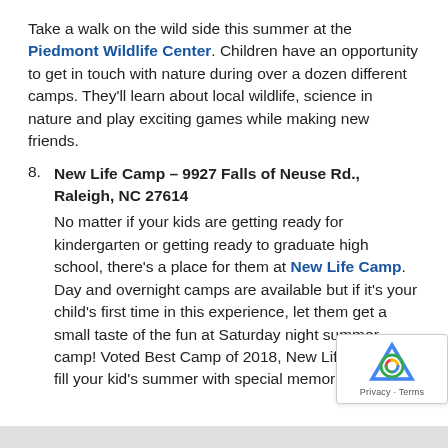Take a walk on the wild side this summer at the Piedmont Wildlife Center. Children have an opportunity to get in touch with nature during over a dozen different camps. They'll learn about local wildlife, science in nature and play exciting games while making new friends.
8. New Life Camp – 9927 Falls of Neuse Rd., Raleigh, NC 27614
No matter if your kids are getting ready for kindergarten or getting ready to graduate high school, there's a place for them at New Life Camp. Day and overnight camps are available but if it's your child's first time in this experience, let them get a small taste of the fun at Saturday night summer camp! Voted Best Camp of 2018, New Life Camp will fill your kid's summer with special memories!